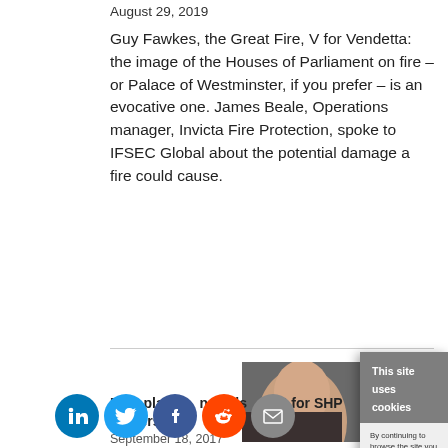August 29, 2019
Guy Fawkes, the Great Fire, V for Vendetta: the image of the Houses of Parliament on fire – or Palace of Westminster, if you prefer – is an evocative one. James Beale, Operations manager, Invicta Fire Protection, spoke to IFSEC Global about the potential damage a fire could cause.
[Figure (screenshot): Cookie consent banner overlay with dark grey header 'This site uses cookies', light grey body with text 'By continuing to browse the site you are agreeing to our use of cookies. Read our Cookie Policy to find out more.' and a dark grey 'I AGREE' button.]
[Figure (photo): Partial photo of a person, showing shoulder and side of face/head with dark background.]
Free places on skills event for SHP
ders
September 18, 2017